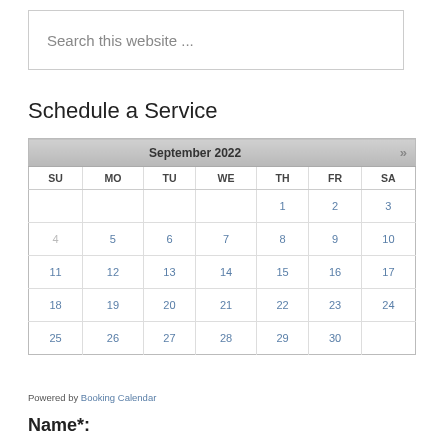Search this website ...
Schedule a Service
| SU | MO | TU | WE | TH | FR | SA |
| --- | --- | --- | --- | --- | --- | --- |
|  |  |  |  | 1 | 2 | 3 |
| 4 | 5 | 6 | 7 | 8 | 9 | 10 |
| 11 | 12 | 13 | 14 | 15 | 16 | 17 |
| 18 | 19 | 20 | 21 | 22 | 23 | 24 |
| 25 | 26 | 27 | 28 | 29 | 30 |  |
Powered by Booking Calendar
Name*: